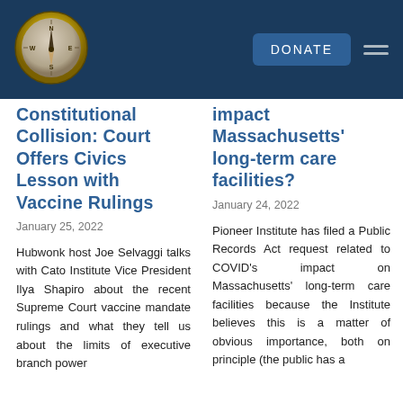[Figure (logo): Compass logo — circular with compass rose, gold/bronze tones, on dark navy header background]
Constitutional Collision: Court Offers Civics Lesson with Vaccine Rulings
January 25, 2022
Hubwonk host Joe Selvaggi talks with Cato Institute Vice President Ilya Shapiro about the recent Supreme Court vaccine mandate rulings and what they tell us about the limits of executive branch power
impact Massachusetts' long-term care facilities?
January 24, 2022
Pioneer Institute has filed a Public Records Act request related to COVID's impact on Massachusetts' long-term care facilities because the Institute believes this is a matter of obvious importance, both on principle (the public has a